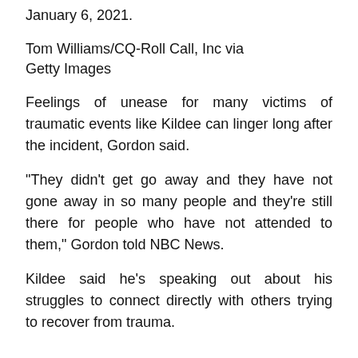January 6, 2021.
Tom Williams/CQ-Roll Call, Inc via Getty Images
Feelings of unease for many victims of traumatic events like Kildee can linger long after the incident, Gordon said.
“They didn’t get go away and they have not gone away in so many people and they’re still there for people who have not attended to them,” Gordon told NBC News.
Kildee said he’s speaking out about his struggles to connect directly with others trying to recover from trauma.